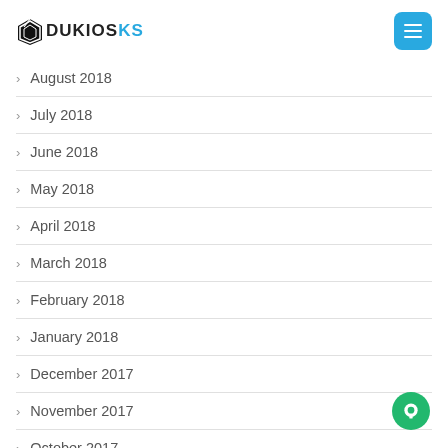DUKIOSKS
August 2018
July 2018
June 2018
May 2018
April 2018
March 2018
February 2018
January 2018
December 2017
November 2017
October 2017
September 2017